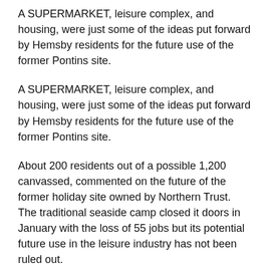A SUPERMARKET, leisure complex, and housing, were just some of the ideas put forward by Hemsby residents for the future use of the former Pontins site.
A SUPERMARKET, leisure complex, and housing, were just some of the ideas put forward by Hemsby residents for the future use of the former Pontins site.
About 200 residents out of a possible 1,200 canvassed, commented on the future of the former holiday site owned by Northern Trust. The traditional seaside camp closed it doors in January with the loss of 55 jobs but its potential future use in the leisure industry has not been ruled out.
Paul Boyfield, a spokesman for Northern Trust, said: "We had a pretty good response for the initial part of the consultation. A proportion of people have said they would like to see it kept as leisure industry use